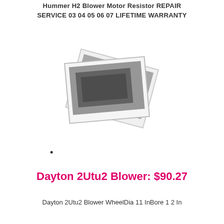Hummer H2 Blower Motor Resistor REPAIR SERVICE 03 04 05 06 07 LIFETIME WARRANTY
[Figure (photo): Two overlapping polaroid-style photos of a blower motor resistor component, slightly rotated, with gray placeholder/blurred image content.]
•
Dayton 2Utu2 Blower: $90.27
Dayton 2Utu2 Blower WheelDia 11 InBore 1 2 In